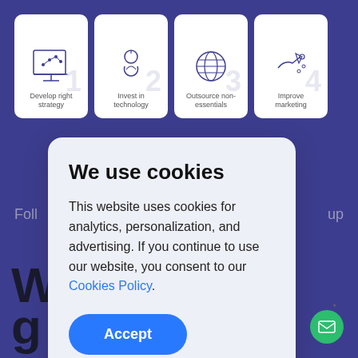[Figure (screenshot): Website background showing a dark blue/purple section with four numbered step cards (1-4) at the top: 'Develop right strategy', 'Invest in technology', 'Outsource non-essentials', 'Improve marketing'. Partial body text is visible behind the modal.]
We use cookies
This website uses cookies for analytics, personalization, and advertising. If you continue to use our website, you consent to our Cookies Policy.
Accept